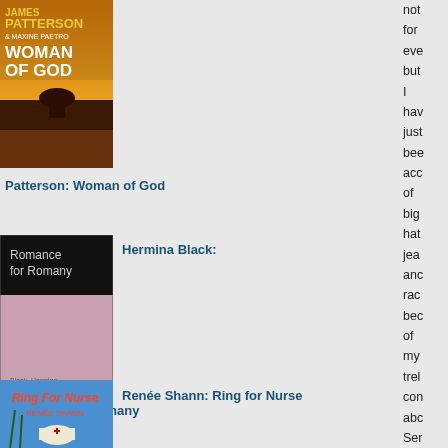[Figure (photo): Book cover: James Patterson & Maxine Paetro - Woman of God]
Patterson: Woman of God
[Figure (photo): Book cover: Hermina Black - Romance for Romany]
Hermina Black:
Romance for Romany
[Figure (photo): Book cover: Renée Shann - Ring for Nurse]
Renée Shann: Ring for Nurse
not
for
eve
but
I
hav
just
bee
acc
of
big
hat
jea
anc
rac
bec
of
my
trel
con
abc
Ser
My